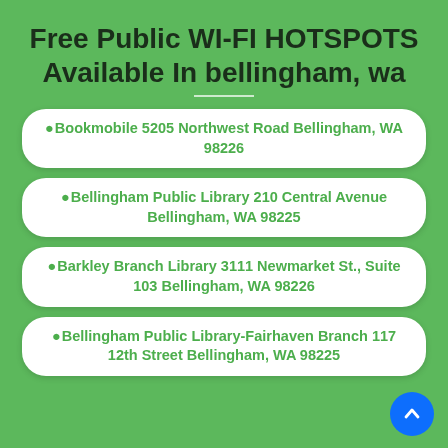Free Public WI-FI HOTSPOTS Available In bellingham, wa
Bookmobile 5205 Northwest Road Bellingham, WA 98226
Bellingham Public Library 210 Central Avenue Bellingham, WA 98225
Barkley Branch Library 3111 Newmarket St., Suite 103 Bellingham, WA 98226
Bellingham Public Library-Fairhaven Branch 117 12th Street Bellingham, WA 98225